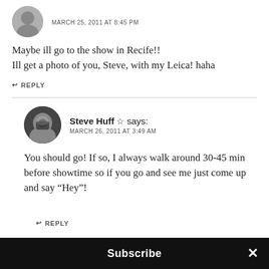[Figure (photo): Gray silhouette avatar icon for anonymous user]
MARCH 25, 2011 AT 8:45 PM
Maybe ill go to the show in Recife!!
Ill get a photo of you, Steve, with my Leica! haha
↩ REPLY
[Figure (photo): Black and white photo of Steve Huff holding a camera]
Steve Huff ☆ says:
MARCH 26, 2011 AT 3:49 AM
You should go! If so, I always walk around 30-45 min before showtime so if you go and see me just come up and say “Hey”!
↩ REPLY
Subscribe